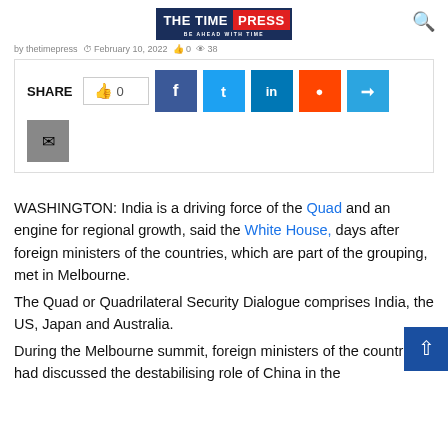THE TIME PRESS — BE AHEAD WITH TIME
by thetimepress · February 10, 2022 · 0 · 38
[Figure (other): Social share bar with thumbs-up count 0, Facebook, Twitter, LinkedIn, Reddit, Telegram, Email buttons]
WASHINGTON: India is a driving force of the Quad and an engine for regional growth, said the White House, days after foreign ministers of the countries, which are part of the grouping, met in Melbourne.
The Quad or Quadrilateral Security Dialogue comprises India, the US, Japan and Australia.
During the Melbourne summit, foreign ministers of the countries had discussed the destabilising role of China in the